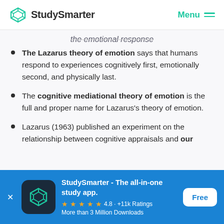StudySmarter | Menu
the emotional response
The Lazarus theory of emotion says that humans respond to experiences cognitively first, emotionally second, and physically last.
The cognitive mediational theory of emotion is the full and proper name for Lazarus's theory of emotion.
Lazarus (1963) published an experiment on the relationship between cognitive appraisals and our
StudySmarter - The all-in-one study app. 4.8 · +11k Ratings More than 3 Million Downloads Free